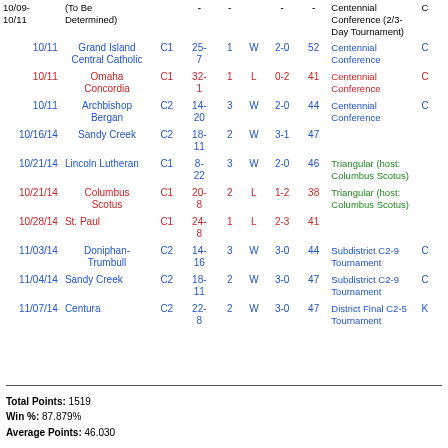| Date | Opponent | Cls | Score | GS | W/L | Rec | Pts | Event | Loc |
| --- | --- | --- | --- | --- | --- | --- | --- | --- | --- |
| 10/09-10/11 | (To Be Determined) |  | - | - |  | - | - | Centennial Conference (2/3-Day Tournament) | C |
| 10/11 | Grand Island Central Catholic | C1 | 25-7 | 1 | W | 2-0 | 52 | Centennial Conference | C |
| 10/11 | Omaha Concordia | C1 | 32-1 | 1 | L | 0-2 | 41 | Centennial Conference | C |
| 10/11 | Archbishop Bergan | C2 | 14-20 | 3 | W | 2-0 | 44 | Centennial Conference | C |
| 10/16/14 | Sandy Creek | C2 | 18-11 | 2 | W | 3-1 | 47 |  |  |
| 10/21/14 | Lincoln Lutheran | C1 | 8-22 | 3 | W | 2-0 | 46 | Triangular (host: Columbus Scotus) |  |
| 10/21/14 | Columbus Scotus | C1 | 20-8 | 2 | L | 1-2 | 38 | Triangular (host: Columbus Scotus) |  |
| 10/28/14 | St. Paul | C1 | 24-8 | 1 | L | 2-3 | 41 |  |  |
| 11/03/14 | Doniphan-Trumbull | C2 | 14-16 | 3 | W | 3-0 | 44 | Subdistrict C2-9 Tournament | C |
| 11/04/14 | Sandy Creek | C2 | 18-11 | 2 | W | 3-0 | 47 | Subdistrict C2-9 Tournament | C |
| 11/07/14 | Centura | C2 | 22-8 | 2 | W | 3-0 | 47 | District Final C2-5 Tournament | K |
Total Points: 1519
Win %: 87.879%
Average Points: 46.030